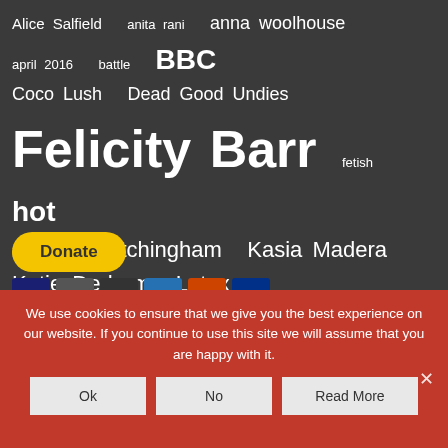[Figure (infographic): Tag cloud with white text on dark gray background containing terms related to TV news presenters and related topics. Terms vary in font size indicating frequency/importance. Terms include: Alice Salfield, anita rani, anna woolhouse, april 2016, battle, BBC, Coco Lush, Dead Good Undies, Felicity Barr, fetish, hot, itv, Julie Etchingham, Kasia Madera, Katie Derham, Latex, laura tobin, Lauren Taylor, lingerie, Lucrezia Milirani, Lucrezia Millarini, lucy verasamy, Mary Nightingale, mary nightinglae, may 2016, naga munchetty, news, presenter, presenters, rachel riley, radio, reporter, sexiest, sexiest presenter, sexiest presenter 2016, sexiest presenters, sexy, sky, stacey soloman, Susanna Reid, tv, uk, victoria fritz, vote, weather girls]
[Figure (other): Yellow Donate button with PayPal-style rounded rectangle shape, followed by a row of payment method logos (Visa, Mastercard, etc.)]
We use cookies to ensure that we give you the best experience on our website. If you continue to use this site we will assume that you are happy with it.
Ok
No
Read More